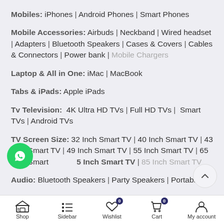Mobiles: iPhones | Android Phones | Smart Phones
Mobile Accessories: Airbuds | Neckband | Wired headset | Adapters | Bluetooth Speakers | Cases & Covers | Cables & Connectors | Power bank | Mobile Chargers
Laptop & All in One: iMac | MacBook
Tabs & iPads: Apple iPads
Tv Television: 4K Ultra HD TVs | Full HD TVs | Smart TVs | Android TVs
TV Screen Size: 32 Inch Smart TV | 40 Inch Smart TV | 43 Inch Smart TV | 49 Inch Smart TV | 55 Inch Smart TV | 65 Inch Smart TV | 75 Inch Smart TV | 85 Inch Smart TV
Audio: Bluetooth Speakers | Party Speakers | Portable
Shop | Sidebar | Wishlist 0 | Cart 0 | My account